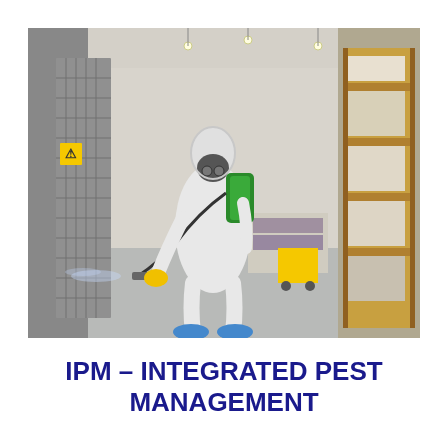[Figure (photo): A person in a white protective hazmat suit with blue shoe covers, yellow gloves, and a gas mask, carrying a green backpack sprayer, spraying a pesticide along a metal cage/rack in a large warehouse with tall yellow shelving racks stocked with goods in the background.]
IPM – INTEGRATED PEST MANAGEMENT